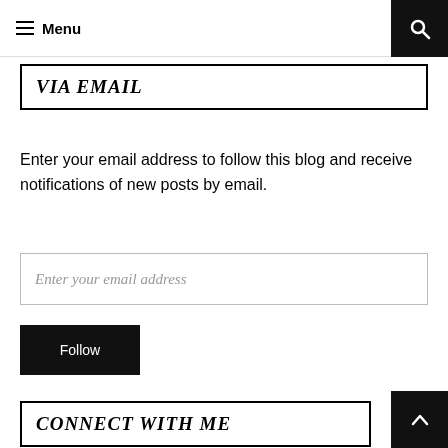Menu
VIA EMAIL
Enter your email address to follow this blog and receive notifications of new posts by email.
Enter your email address
Follow
CONNECT WITH ME